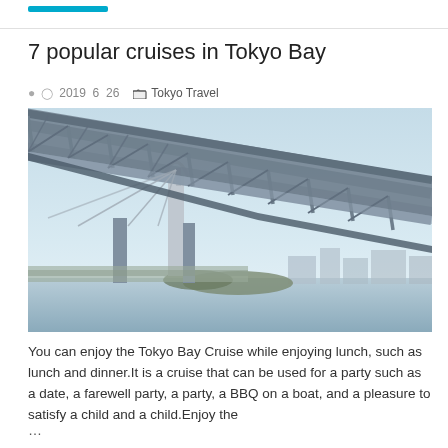7 popular cruises in Tokyo Bay
2019  6  26    Tokyo Travel
[Figure (photo): Photograph of the Rainbow Bridge in Tokyo Bay, taken from below and at an angle, showing the bridge structure overhead with suspension cables and steel trusses, blue sky in the background, water and city buildings in the distance.]
You can enjoy the Tokyo Bay Cruise while enjoying lunch, such as lunch and dinner.It is a cruise that can be used for a party such as a date, a farewell party, a party, a BBQ on a boat, and a pleasure to satisfy a child and a child.Enjoy the
…